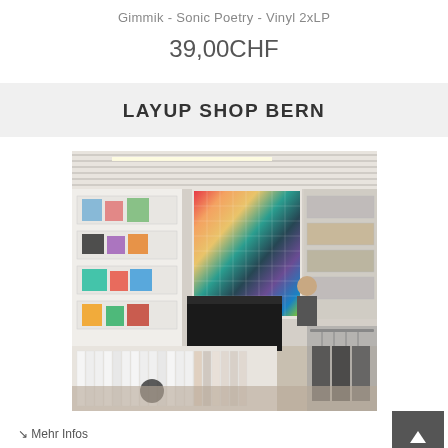Gimmik - Sonic Poetry - Vinyl 2xLP
39,00CHF
LAYUP SHOP BERN
[Figure (photo): Interior of Layup Shop Bern showing shelves with vinyl records, a colorful wall display, clothing racks, and a dark sales counter]
Mehr Infos